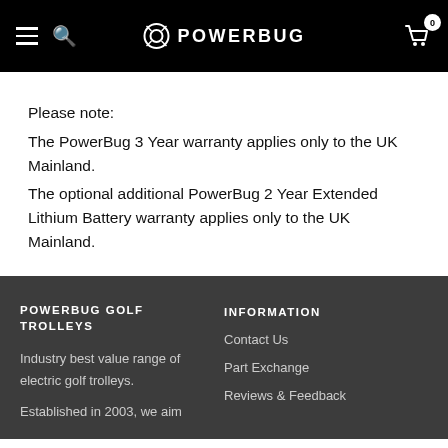POWERBUG (navigation header with hamburger menu, search, logo, and cart)
Please note:
The PowerBug 3 Year warranty applies only to the UK Mainland.
The optional additional PowerBug 2 Year Extended Lithium Battery warranty applies only to the UK Mainland.
POWERBUG GOLF TROLLEYS
Industry best value range of electric golf trolleys.

Established in 2003, we aim
INFORMATION
Contact Us
Part Exchange
Reviews & Feedback